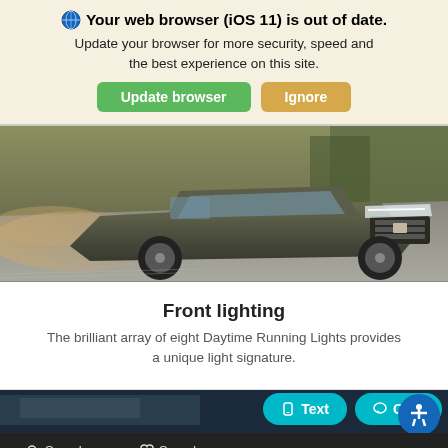🌐 Your web browser (iOS 11) is out of date. Update your browser for more security, speed and the best experience on this site. [Update browser] [Ignore]
[Figure (photo): A dark green/olive Hyundai Santa Cruz pickup truck driving on a dirt road, kicking up dust, with trees in the background. Action/motion shot.]
Front lighting
The brilliant array of eight Daytime Running Lights provides a unique light signature.
[Figure (photo): Partial bottom image of a car exterior, dark tones, partially visible.]
Text  Chat  Search  Saved